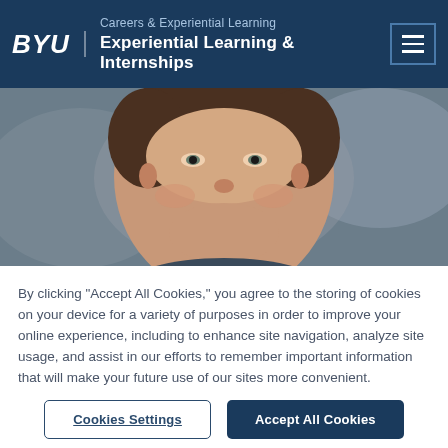BYU | Careers & Experiential Learning | Experiential Learning & Internships
[Figure (photo): Close-up photo of a smiling young man with brown hair, against a blurred outdoor background]
By clicking “Accept All Cookies,” you agree to the storing of cookies on your device for a variety of purposes in order to improve your online experience, including to enhance site navigation, analyze site usage, and assist in our efforts to remember important information that will make your future use of our sites more convenient.
Cookies Settings | Accept All Cookies